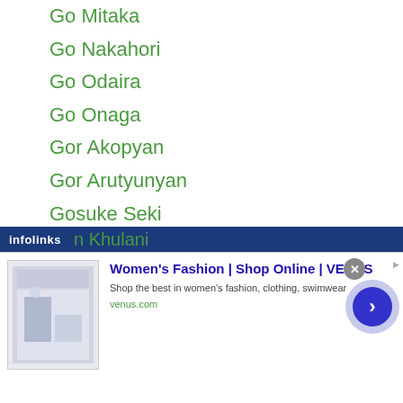Go Mitaka
Go Nakahori
Go Odaira
Go Onaga
Gor Akopyan
Gor Arutyunyan
Gosuke Seki
Goto Toshimitsu
Gretchen Abaniel
Grigory Drozd
Hajime Ikeda
Hajime Kawase
Hajime Nagai
Halim Dolbhante
Hamdan Jaber
n Khulani
[Figure (screenshot): Advertisement banner: Women's Fashion | Shop Online | VENUS - Shop the best in women's fashion, clothing, swimwear. venus.com. Infolinks ad bar with blue background.]